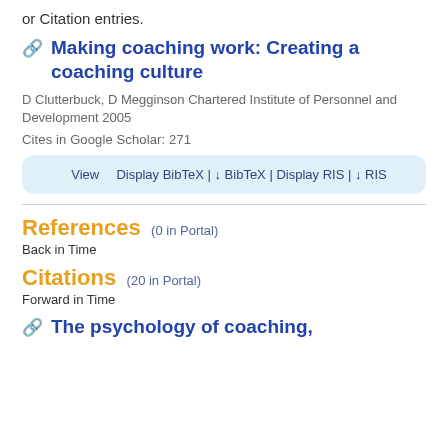or Citation entries.
Making coaching work: Creating a coaching culture
D Clutterbuck, D Megginson Chartered Institute of Personnel and Development 2005
Cites in Google Scholar: 271
View | Display BibTeX | ↓ BibTeX | Display RIS | ↓ RIS
References (0 in Portal)
Back in Time
Citations (20 in Portal)
Forward in Time
The psychology of coaching,